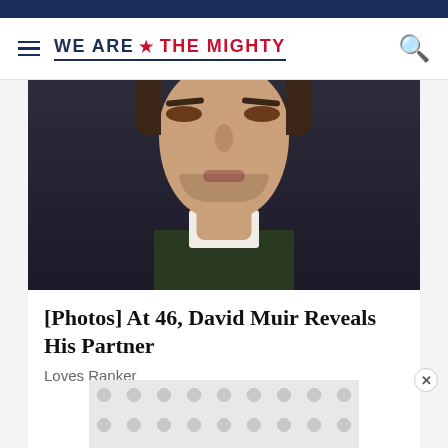We Are The Mighty
[Figure (photo): Close-up portrait photo of a man (David Muir) against a dark background, wearing a dark suit with white collar visible.]
[Photos] At 46, David Muir Reveals His Partner
Loves Ranker
[Figure (other): Advertisement banner with circular dot pattern on grey background]